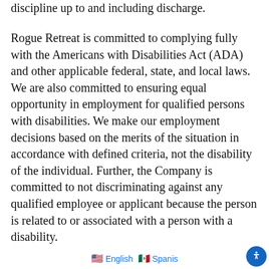discipline up to and including discharge.
Rogue Retreat is committed to complying fully with the Americans with Disabilities Act (ADA) and other applicable federal, state, and local laws. We are also committed to ensuring equal opportunity in employment for qualified persons with disabilities. We make our employment decisions based on the merits of the situation in accordance with defined criteria, not the disability of the individual. Further, the Company is committed to not discriminating against any qualified employee or applicant because the person is related to or associated with a person with a disability.
English  Spanish